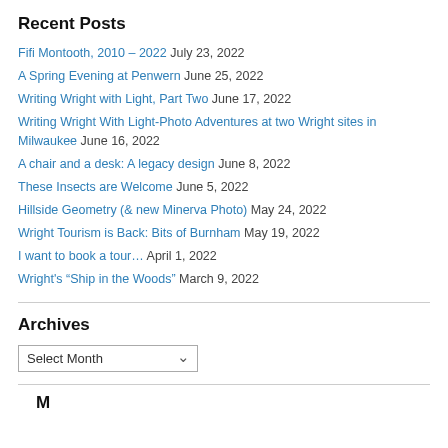Recent Posts
Fifi Montooth, 2010 – 2022 July 23, 2022
A Spring Evening at Penwern June 25, 2022
Writing Wright with Light, Part Two June 17, 2022
Writing Wright With Light-Photo Adventures at two Wright sites in Milwaukee June 16, 2022
A chair and a desk: A legacy design June 8, 2022
These Insects are Welcome June 5, 2022
Hillside Geometry (& new Minerva Photo) May 24, 2022
Wright Tourism is Back: Bits of Burnham May 19, 2022
I want to book a tour… April 1, 2022
Wright's “Ship in the Woods” March 9, 2022
Archives
Select Month
M